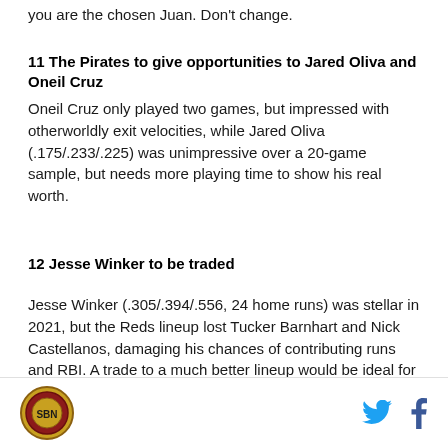you are the chosen Juan. Don't change.
11 The Pirates to give opportunities to Jared Oliva and Oneil Cruz
Oneil Cruz only played two games, but impressed with otherworldly exit velocities, while Jared Oliva (.175/.233/.225) was unimpressive over a 20-game sample, but needs more playing time to show his real worth.
12 Jesse Winker to be traded
Jesse Winker (.305/.394/.556, 24 home runs) was stellar in 2021, but the Reds lineup lost Tucker Barnhart and Nick Castellanos, damaging his chances of contributing runs and RBI. A trade to a much better lineup would be ideal for his fantasy prospects.